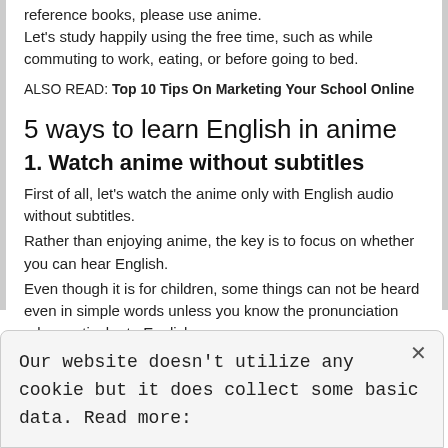reference books, please use anime. Let’s study happily using the free time, such as while commuting to work, eating, or before going to bed.
ALSO READ: Top 10 Tips On Marketing Your School Online
5 ways to learn English in anime
1. Watch anime without subtitles
First of all, let’s watch the anime only with English audio without subtitles.
Rather than enjoying anime, the key is to focus on whether you can hear English.
Even though it is for children, some things can not be heard even in simple words unless you know the pronunciation rules particular to English.
Our website doesn't utilize any cookie but it does collect some basic data. Read more: